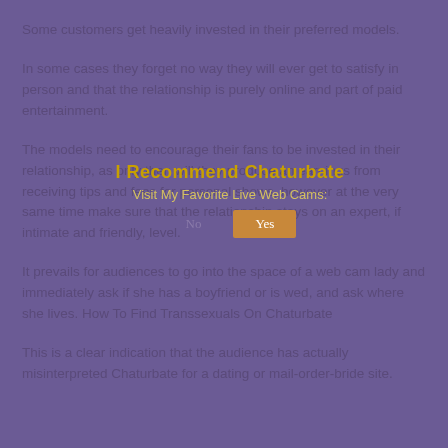Some customers get heavily invested in their preferred models.
In some cases they forget no way they will ever get to satisfy in person and that the relationship is purely online and part of paid entertainment.
The models need to encourage their fans to be invested in their relationship, as only then will they produce an earnings from receiving tips and fees for personal shows, however at the very same time make sure that the relationship stays on an expert, if intimate and friendly, level.
It prevails for audiences to go into the space of a web cam lady and immediately ask if she has a boyfriend or is wed, and ask where she lives. How To Find Transsexuals On Chaturbate
This is a clear indication that the audience has actually misinterpreted Chaturbate for a dating or mail-order-bride site.